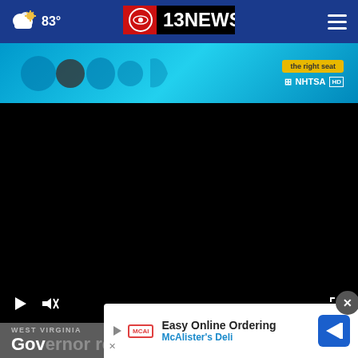83° | CBS 13 NEWS
[Figure (screenshot): Colorful NHTSA advertisement banner with blue background showing car-related safety icons]
[Figure (screenshot): Black video player with playback controls at bottom — play button, mute button, and fullscreen button]
WEST VIRGINIA
Gov yce t sep… te
[Figure (screenshot): McAlister's Deli advertisement overlay: Easy Online Ordering / McAlister's Deli with navigation arrow icon]